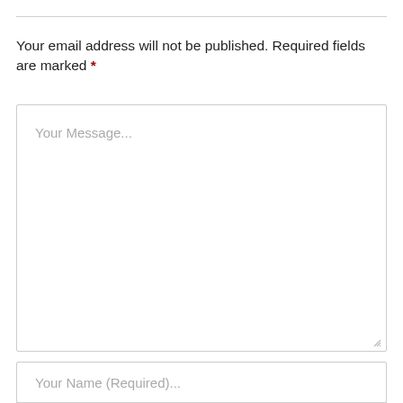Your email address will not be published. Required fields are marked *
[Figure (screenshot): A large textarea form field with placeholder text 'Your Message...' and a resize handle in the bottom-right corner.]
[Figure (screenshot): A single-line text input field with placeholder text 'Your Name (Required)...']